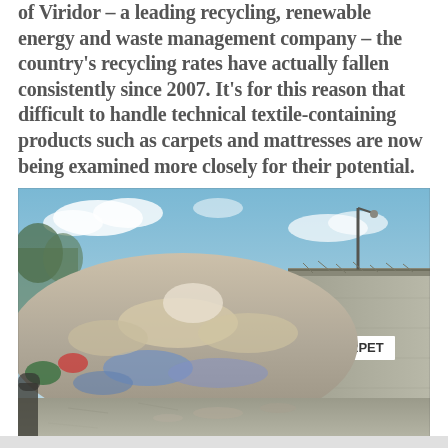of Viridor – a leading recycling, renewable energy and waste management company – the country's recycling rates have actually fallen consistently since 2007. It's for this reason that difficult to handle technical textile-containing products such as carpets and mattresses are now being examined more closely for their potential.
[Figure (photo): A large pile of mixed waste and carpets at a recycling facility, with a concrete barrier wall on the right side labeled 'CARPET'. Blue sky with light clouds in the background, and what appears to be a lamppost and wire fence visible behind the wall.]